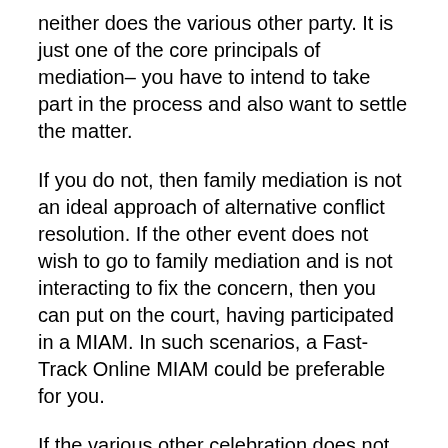neither does the various other party. It is just one of the core principals of mediation– you have to intend to take part in the process and also want to settle the matter.
If you do not, then family mediation is not an ideal approach of alternative conflict resolution. If the other event does not wish to go to family mediation and is not interacting to fix the concern, then you can put on the court, having participated in a MIAM. In such scenarios, a Fast-Track Online MIAM could be preferable for you.
If the various other celebration does not ultimately participate in the court hearing without excellent reason, they may be held in ridicule of court, or more generally, a legally binding order